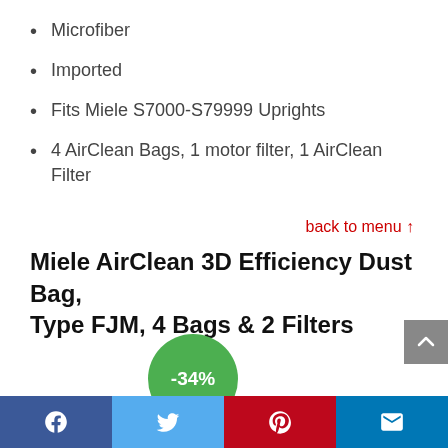Microfiber
Imported
Fits Miele S7000-S79999 Uprights
4 AirClean Bags, 1 motor filter, 1 AirClean Filter
back to menu ↑
Miele AirClean 3D Efficiency Dust Bag, Type FJM, 4 Bags & 2 Filters
[Figure (other): Green circular discount badge showing -34%]
Social share bar: Facebook, Twitter, Pinterest, Email